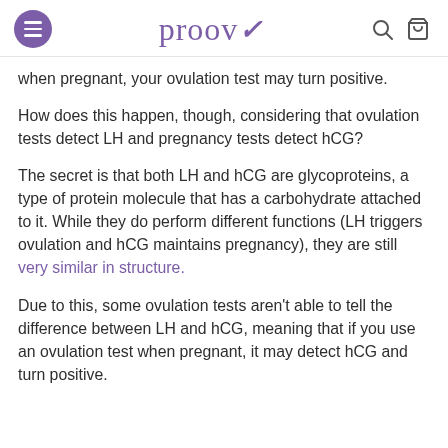proov
when pregnant, your ovulation test may turn positive.
How does this happen, though, considering that ovulation tests detect LH and pregnancy tests detect hCG?
The secret is that both LH and hCG are glycoproteins, a type of protein molecule that has a carbohydrate attached to it. While they do perform different functions (LH triggers ovulation and hCG maintains pregnancy), they are still very similar in structure.
Due to this, some ovulation tests aren't able to tell the difference between LH and hCG, meaning that if you use an ovulation test when pregnant, it may detect hCG and turn positive.